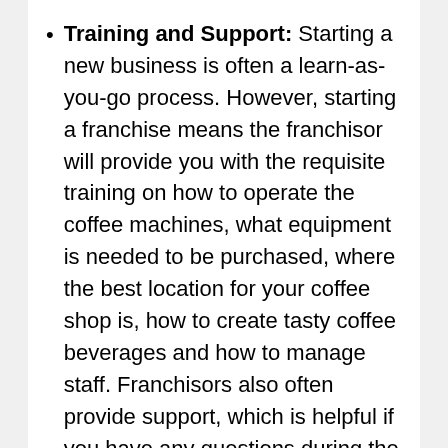Training and Support: Starting a new business is often a learn-as-you-go process. However, starting a franchise means the franchisor will provide you with the requisite training on how to operate the coffee machines, what equipment is needed to be purchased, where the best location for your coffee shop is, how to create tasty coffee beverages and how to manage staff. Franchisors also often provide support, which is helpful if you have any questions during the start-up and early days of your business, as well as in the future when problems or hardships arise.
Resale: When you start a business, you